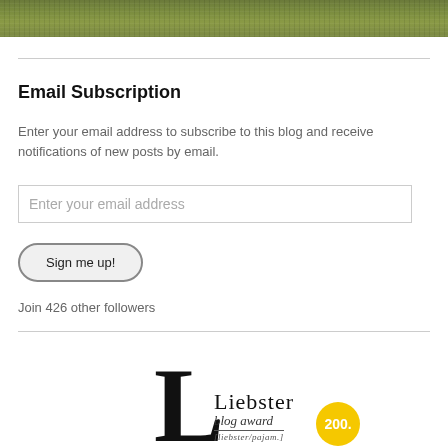[Figure (photo): Grass/turf background image at top of page]
Email Subscription
Enter your email address to subscribe to this blog and receive notifications of new posts by email.
Enter your email address
Sign me up!
Join 426 other followers
[Figure (logo): Liebster blog award logo with large L, 'Liebster blog award' text and yellow circle with 200.]